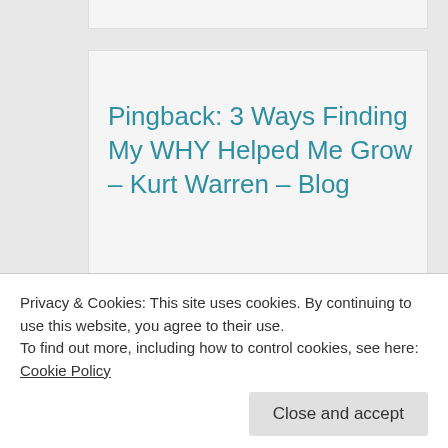Pingback: 3 Ways Finding My WHY Helped Me Grow – Kurt Warren – Blog
Pingback: 3 Methods Discovering My
Privacy & Cookies: This site uses cookies. By continuing to use this website, you agree to their use.
To find out more, including how to control cookies, see here: Cookie Policy
Close and accept